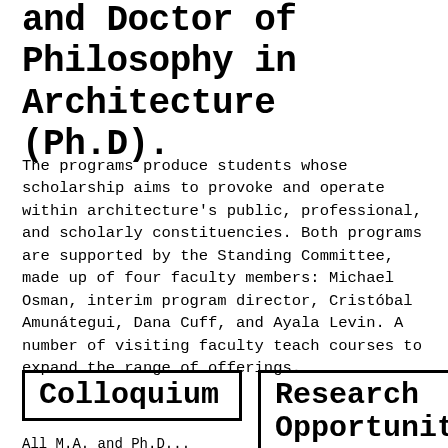and Doctor of Philosophy in Architecture (Ph.D).
The programs produce students whose scholarship aims to provoke and operate within architecture's public, professional, and scholarly constituencies. Both programs are supported by the Standing Committee, made up of four faculty members: Michael Osman, interim program director, Cristóbal Amunátegui, Dana Cuff, and Ayala Levin. A number of visiting faculty teach courses to expand the range of offerings.
Colloquium
Research Opportunities
All M.A. and Ph.D...